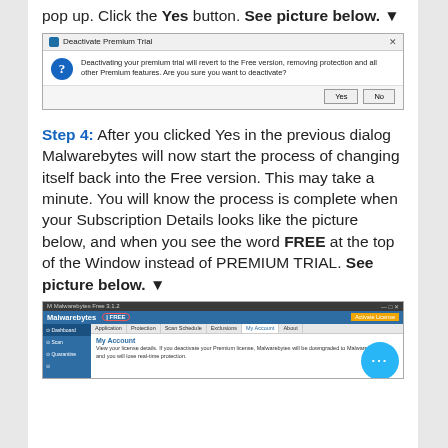pop up. Click the Yes button. See picture below. ▼
[Figure (screenshot): Deactivate Premium Trial dialog box with question mark icon, message about reverting to Free version, and Yes/No buttons]
Step 4: After you clicked Yes in the previous dialog Malwarebytes will now start the process of changing itself back into the Free version. This may take a minute. You will know the process is complete when your Subscription Details looks like the picture below, and when you see the word FREE at the top of the Window instead of PREMIUM TRIAL. See picture below. ▼
[Figure (screenshot): Malwarebytes Free application window showing 'FREE' badge circled in red, My Account tab selected, with chat bubble overlay]